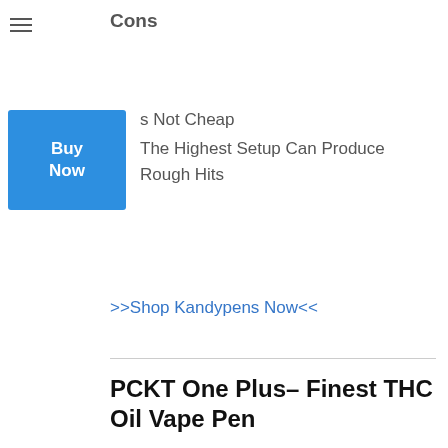Cons
Is Not Cheap
The Highest Setup Can Produce Rough Hits
>>Shop Kandypens Now<<
PCKT One Plus– Finest THC Oil Vape Pen
Item Information And Benefits
It can be challenging to set yourself apart in this sector by attributes